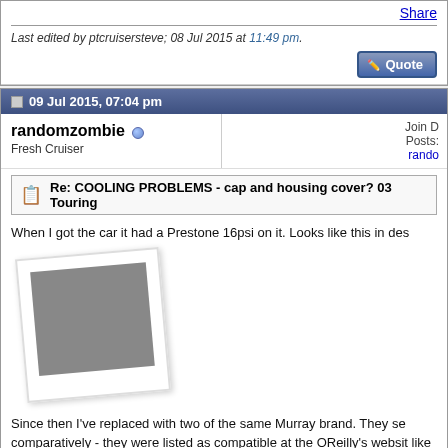Share
Last edited by ptcruisersteve; 08 Jul 2015 at 11:49 pm.
[Figure (screenshot): Quote button with pencil icon]
09 Jul 2015, 07:04 pm
randomzombie (online) - Fresh Cruiser - Join Date, Posts, rando...
Re: COOLING PROBLEMS - cap and housing cover? 03 Touring
When I got the car it had a Prestone 16psi on it. Looks like this in des
[Figure (photo): Polaroid-style placeholder image, gray square]
Since then I've replaced with two of the same Murray brand. They se comparatively - they were listed as compatible at the OReilly's websit like this. Also 16.
[Figure (photo): Close-up photo of a radiator cap with embossed text - DO NOT OPEN]